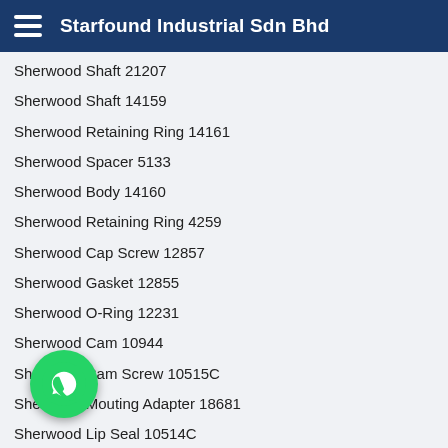Starfound Industrial Sdn Bhd
Sherwood Shaft 21207
Sherwood Shaft 14159
Sherwood Retaining Ring 14161
Sherwood Spacer 5133
Sherwood Body 14160
Sherwood Retaining Ring 4259
Sherwood Cap Screw 12857
Sherwood Gasket 12855
Sherwood O-Ring 12231
Sherwood Cam 10944
Sherwood Cam Screw 10515C
Sherwood Mouting Adapter 18681
Sherwood Lip Seal 10514C
Sherwood Ball Bearing 12211
Sherwood Wear Plate 25150
Sherwood Washer 4264
Sherwood Housing 12228
Sherwood Mechanical Seal Assembly 12859
Sherwood Gear 14184
She[rwood] 16046
She[rwood] [Retain]ing 18385
Sherwood Mechanical Seal Assembly 15955
Sherwood Lip Seal 19674
[Figure (illustration): WhatsApp floating button icon (green circle with white phone/chat icon)]